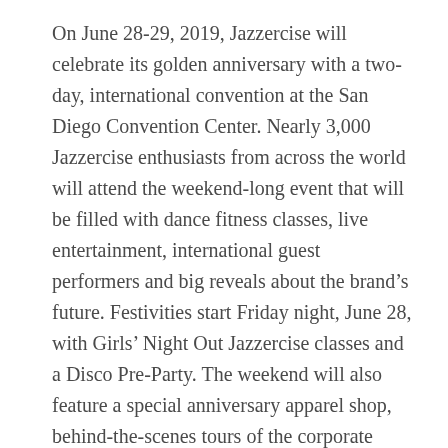On June 28-29, 2019, Jazzercise will celebrate its golden anniversary with a two-day, international convention at the San Diego Convention Center. Nearly 3,000 Jazzercise enthusiasts from across the world will attend the weekend-long event that will be filled with dance fitness classes, live entertainment, international guest performers and big reveals about the brand's future. Festivities start Friday night, June 28, with Girls' Night Out Jazzercise classes and a Disco Pre-Party. The weekend will also feature a special anniversary apparel shop, behind-the-scenes tours of the corporate offices in Carlsbad, CA, and an interactive museum that chronicles the many industry “firsts” Jazzercise brought to the fitness world.
Given its proven grit, company earnings and global presence, Jazzercise, Inc., is gearing up to take on